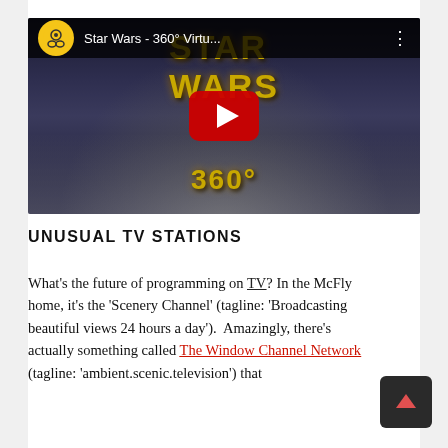[Figure (screenshot): YouTube video thumbnail for 'Star Wars - 360° Virtu...' showing Star Wars title text in gold, stormtroopers in background, YouTube play button overlay, and '360°' text at bottom]
UNUSUAL TV STATIONS
What's the future of programming on TV? In the McFly home, it's the 'Scenery Channel' (tagline: 'Broadcasting beautiful views 24 hours a day'). Amazingly, there's actually something called The Window Channel Network (tagline: 'ambient.scenic.television') that